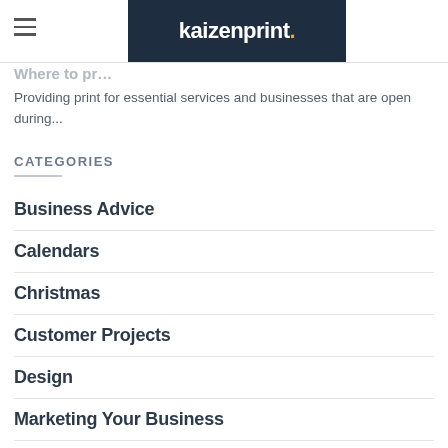kaizenprint.
Where to pr…
Providing print for essential services and businesses that are open during...
CATEGORIES
Business Advice
Calendars
Christmas
Customer Projects
Design
Marketing Your Business
Printing